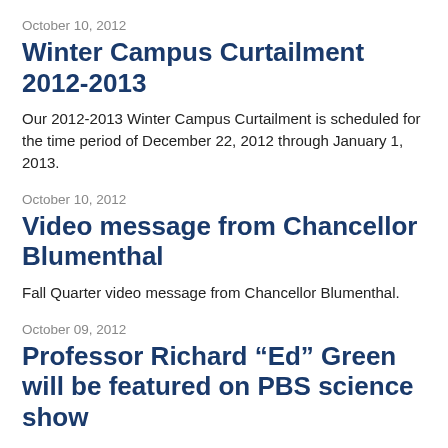October 10, 2012
Winter Campus Curtailment 2012-2013
Our 2012-2013 Winter Campus Curtailment is scheduled for the time period of December 22, 2012 through January 1, 2013.
October 10, 2012
Video message from Chancellor Blumenthal
Fall Quarter video message from Chancellor Blumenthal.
October 09, 2012
Professor Richard “Ed” Green will be featured on PBS science show